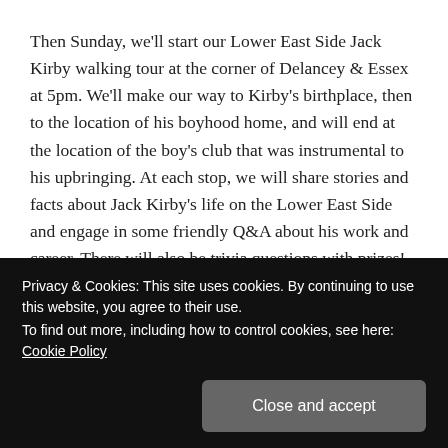Then Sunday, we'll start our Lower East Side Jack Kirby walking tour at the corner of Delancey & Essex at 5pm. We'll make our way to Kirby's birthplace, then to the location of his boyhood home, and will end at the location of the boy's club that was instrumental to his upbringing. At each stop, we will share stories and facts about Jack Kirby's life on the Lower East Side and engage in some friendly Q&A about his work and career. There will also be trivia questions with prizes!
The Walking Tour will last approximately 90 minutes with
Privacy & Cookies: This site uses cookies. By continuing to use this website, you agree to their use.
To find out more, including how to control cookies, see here: Cookie Policy
Close and accept
When: Sunday, August 28th, 5-6:30pm